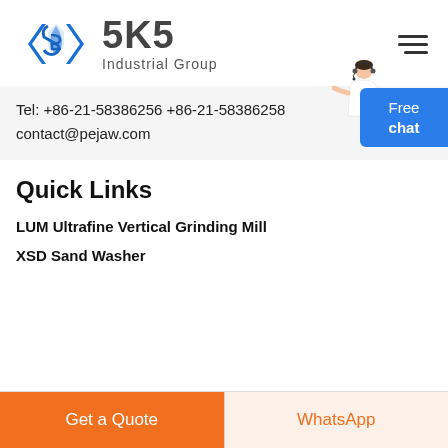[Figure (logo): SKS Industrial Group logo with blue diamond/chevron icon and gray text]
Tel: +86-21-58386256 +86-21-58386258
contact@pejaw.com
[Figure (illustration): Customer service person figure in white shirt with headset, pointing right]
Quick Links
LUM Ultrafine Vertical Grinding Mill
XSD Sand Washer
Get a Quote
WhatsApp